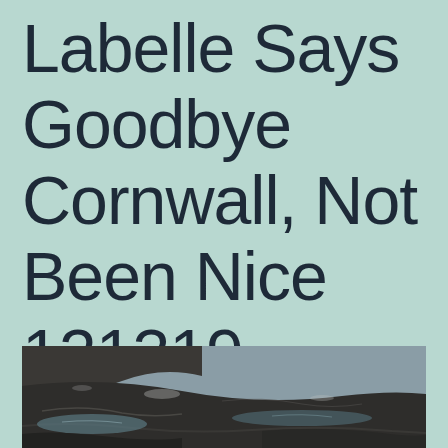Labelle Says Goodbye Cornwall, Not Been Nice 121319
[Figure (photo): A rocky coastal landscape photograph, showing dark wet rocks and water at the bottom portion of the page.]